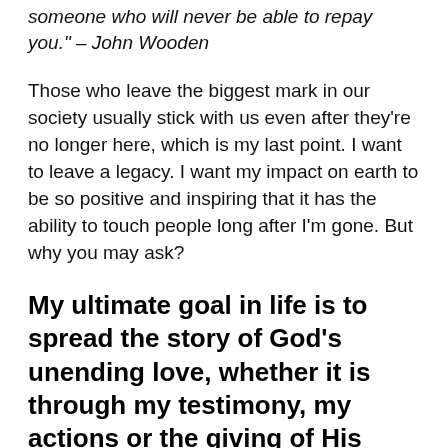"You can live a perfect day without doing something for someone who will never be able to repay you." – John Wooden
Those who leave the biggest mark in our society usually stick with us even after they're no longer here, which is my last point. I want to leave a legacy. I want my impact on earth to be so positive and inspiring that it has the ability to touch people long after I'm gone. But why you may ask?
My ultimate goal in life is to spread the story of God's unending love, whether it is through my testimony, my actions or the giving of His love.
I hope God can use me as a medium for what He